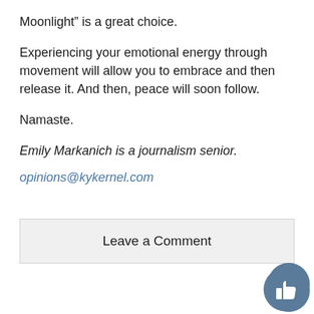Moonlight” is a great choice.
Experiencing your emotional energy through movement will allow you to embrace and then release it. And then, peace will soon follow.
Namaste.
Emily Markanich is a journalism senior.
opinions@kykernel.com
Leave a Comment
[Figure (illustration): Two circular social media icon buttons (comment bubble and thumbs up) in steel blue color at bottom right]